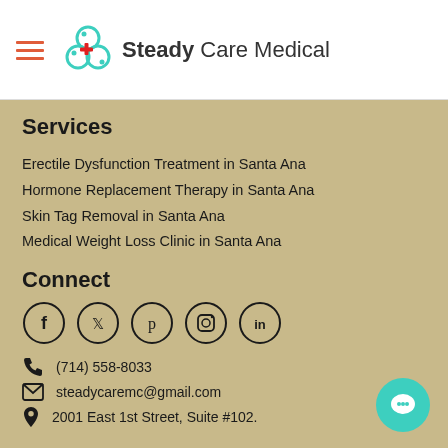Steady Care Medical
Services
Erectile Dysfunction Treatment in Santa Ana
Hormone Replacement Therapy in Santa Ana
Skin Tag Removal in Santa Ana
Medical Weight Loss Clinic in Santa Ana
Connect
[Figure (infographic): Social media icons in circles: Facebook, Twitter, Pinterest, Instagram, LinkedIn]
(714) 558-8033
steadycaremc@gmail.com
2001 East 1st Street, Suite #102.